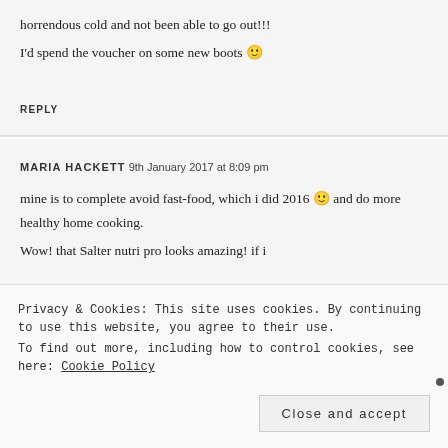horrendous cold and not been able to go out!!!
I'd spend the voucher on some new boots 🙂
REPLY
MARIA HACKETT 9th January 2017 at 8:09 pm
mine is to complete avoid fast-food, which i did 2016 🙂 and do more healthy home cooking.
Wow! that Salter nutri pro looks amazing! if i
Privacy & Cookies: This site uses cookies. By continuing to use this website, you agree to their use.
To find out more, including how to control cookies, see here: Cookie Policy
Close and accept